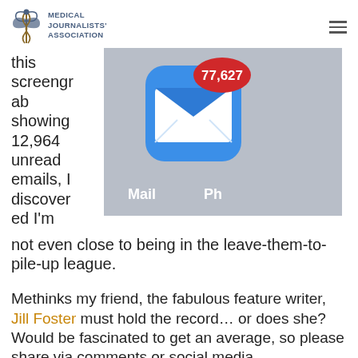MEDICAL JOURNALISTS' ASSOCIATION
this screengrab showing 12,964 unread emails, I discovered I'm not even close to being in the leave-them-to-pile-up league.
[Figure (screenshot): Screenshot of an iPhone Mail app icon showing a large red badge with the number 77,627 unread emails. Below the icon are labels 'Mail' and 'Ph'.]
Methinks my friend, the fabulous feature writer, Jill Foster must hold the record… or does she? Would be fascinated to get an average, so please share via comments or social media.